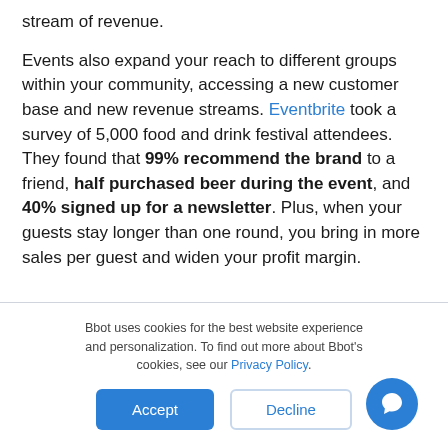stream of revenue.
Events also expand your reach to different groups within your community, accessing a new customer base and new revenue streams. Eventbrite took a survey of 5,000 food and drink festival attendees. They found that 99% recommend the brand to a friend, half purchased beer during the event, and 40% signed up for a newsletter. Plus, when your guests stay longer than one round, you bring in more sales per guest and widen your profit margin.
Bbot uses cookies for the best website experience and personalization. To find out more about Bbot's cookies, see our Privacy Policy.